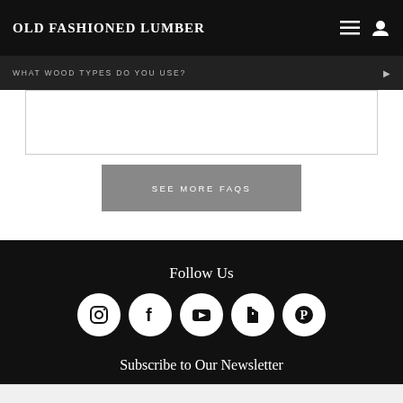OLD FASHIONED LUMBER
WHAT WOOD TYPES DO YOU USE?
SEE MORE FAQS
Follow Us
[Figure (infographic): Row of 5 social media icons in white circles on black background: Instagram, Facebook, YouTube, Houzz, Pinterest]
Subscribe to Our Newsletter